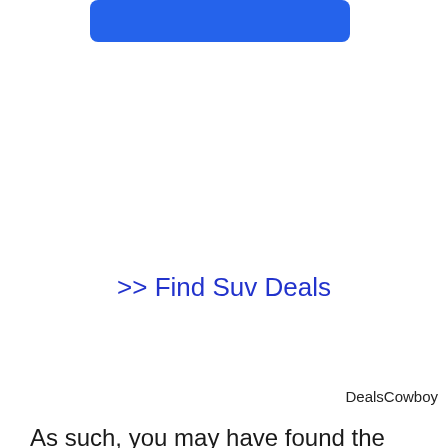[Figure (other): Blue rounded rectangle banner/button at top of page]
>> Find Suv Deals
DealsCowboy
As such, you may have found the images of what has been happening in Canada a little surprising or perhaps even jarring. Canada is supposed to be a quiet, peaceful country where people get along – generally speaking. That is the “nice” Canada you have probably read or heard about or experienced. So, now you know that there is also a not-so-nice